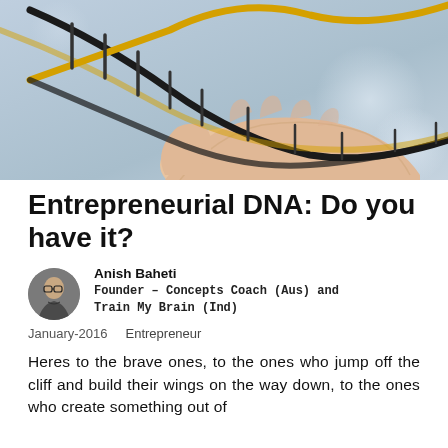[Figure (illustration): A human hand open palm up holding a DNA double helix strand with one strand in gold/yellow and one in dark grey/black, set against a light blue-grey background with soft bokeh circles.]
Entrepreneurial DNA: Do you have it?
Anish Baheti
Founder – Concepts Coach (Aus) and Train My Brain (Ind)
January-2016   Entrepreneur
Heres to the brave ones, to the ones who jump off the cliff and build their wings on the way down, to the ones who create something out of nothing…